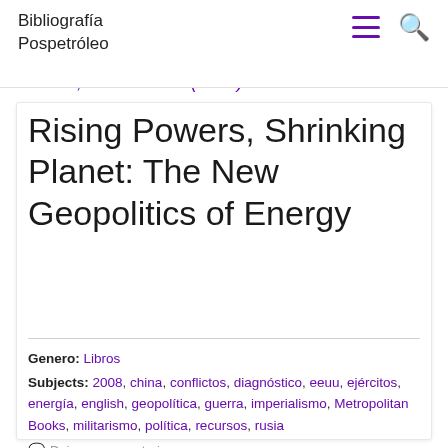Bibliografía Pospetróleo
KLARE, MICHAEL T. (2008): Rising Powers, Shrinking Planet: The New Geopolitics of Energy
Genero: Libros
Subjects: 2008, china, conflictos, diagnóstico, eeuu, ejércitos, energía, english, geopolítica, guerra, imperialismo, Metropolitan Books, militarismo, política, recursos, rusia
Dejar un comentario